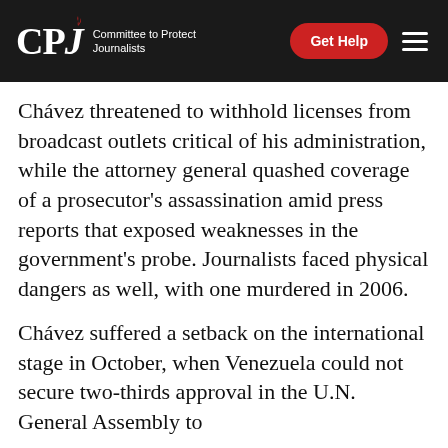CPJ Committee to Protect Journalists | Get Help
Chávez threatened to withhold licenses from broadcast outlets critical of his administration, while the attorney general quashed coverage of a prosecutor’s assassination amid press reports that exposed weaknesses in the government’s probe. Journalists faced physical dangers as well, with one murdered in 2006.
Chávez suffered a setback on the international stage in October, when Venezuela could not secure two-thirds approval in the U.N. General Assembly to